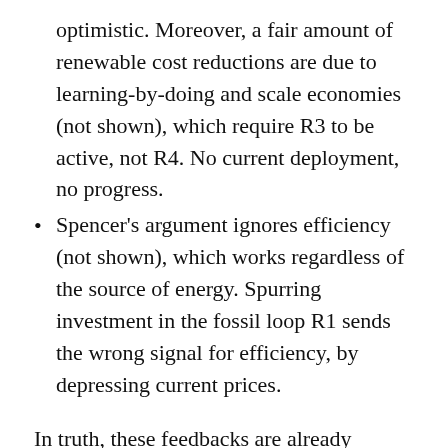optimistic. Moreover, a fair amount of renewable cost reductions are due to learning-by-doing and scale economies (not shown), which require R3 to be active, not R4. No current deployment, no progress.
Spencer's argument ignores efficiency (not shown), which works regardless of the source of energy. Spurring investment in the fossil loop R1 sends the wrong signal for efficiency, by depressing current prices.
In truth, these feedbacks are already present in many energy models. Most of those are standard economic stuff – equilibrium, rational expectations, etc. – assumptions which favor growth. Yet among the subset that includes